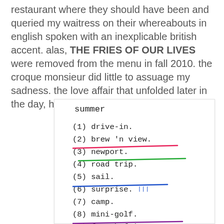restaurant where they should have been and queried my waitress on their whereabouts in english spoken with an inexplicable british accent. alas, THE FRIES OF OUR LIVES were removed from the menu in fall 2010. the croque monsieur did little to assuage my sadness. the love affair that unfolded later in the day, however, did...
[Figure (other): A handwritten/annotated summer list on a white card with items: (1) drive-in. (2) brew 'n view. (3) newport. [crossed out in pink] (4) road trip. [crossed out in green] (5) sail. (6) surprise. [crossed out in blue, with blue tally marks] (7) camp. (8) mini-golf. (9) french fries. [crossed out in purple]]